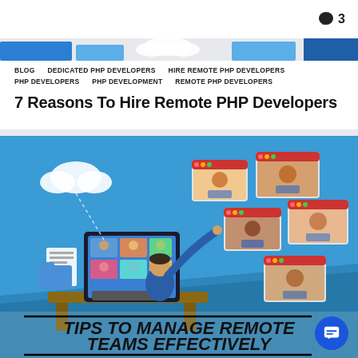3
[Figure (illustration): Top header image strip showing partial illustration of people/remote work elements in blue tones]
BLOG  DEDICATED PHP DEVELOPERS  HIRE REMOTE PHP DEVELOPERS  PHP DEVELOPERS  PHP DEVELOPMENT  REMOTE PHP DEVELOPERS
7 Reasons To Hire Remote PHP Developers
[Figure (illustration): Illustration of a person at a desk managing remote teams via video call windows floating in 3D perspective on a blue background, with text overlay 'TIPS TO MANAGE REMOTE TEAMS EFFECTIVELY']